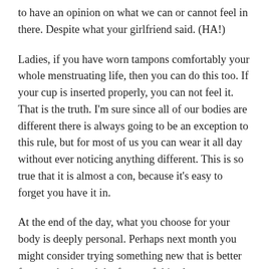to have an opinion on what we can or cannot feel in there. Despite what your girlfriend said. (HA!)
Ladies, if you have worn tampons comfortably your whole menstruating life, then you can do this too. If your cup is inserted properly, you can not feel it. That is the truth. I'm sure since all of our bodies are different there is always going to be an exception to this rule, but for most of us you can wear it all day without ever noticing anything different. This is so true that it is almost a con, because it's easy to forget you have it in.
At the end of the day, what you choose for your body is deeply personal. Perhaps next month you might consider trying something new that is better for your body and the future of this planet.
Reduce, reuse, and reimagine your period. It's not as